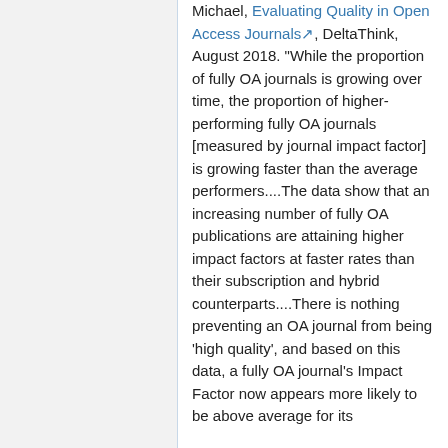Michael, Evaluating Quality in Open Access Journals, DeltaThink, August 2018. "While the proportion of fully OA journals is growing over time, the proportion of higher-performing fully OA journals [measured by journal impact factor] is growing faster than the average performers....The data show that an increasing number of fully OA publications are attaining higher impact factors at faster rates than their subscription and hybrid counterparts....There is nothing preventing an OA journal from being 'high quality', and based on this data, a fully OA journal's Impact Factor now appears more likely to be above average for its